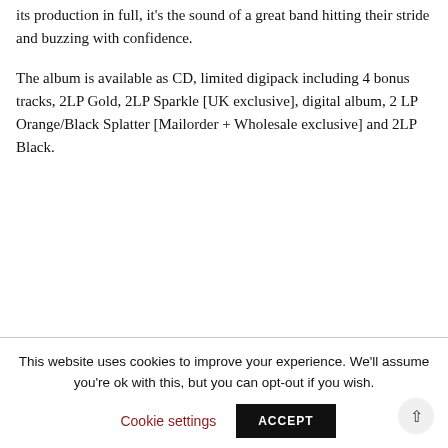its production in full, it's the sound of a great band hitting their stride and buzzing with confidence.
The album is available as CD, limited digipack including 4 bonus tracks, 2LP Gold, 2LP Sparkle [UK exclusive], digital album, 2 LP Orange/Black Splatter [Mailorder + Wholesale exclusive] and 2LP Black.
This website uses cookies to improve your experience. We'll assume you're ok with this, but you can opt-out if you wish.